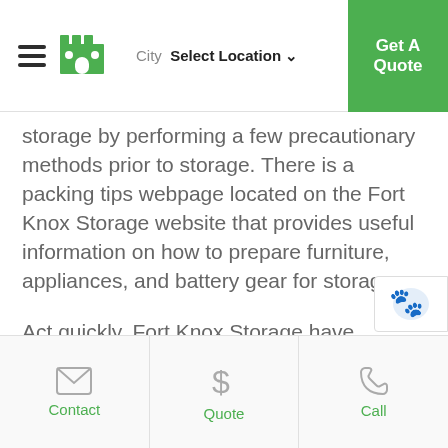City  Select Location  Get A Quote
storage by performing a few precautionary methods prior to storage. There is a packing tips webpage located on the Fort Knox Storage website that provides useful information on how to prepare furniture, appliances, and battery gear for storage.
Act quickly, Fort Knox Storage have storage units available near Fairfield - call today.
Contact  Quote  Call